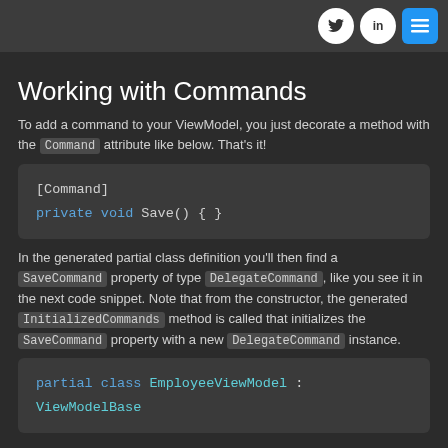Navigation header with Twitter, LinkedIn, and menu icons
Working with Commands
To add a command to your ViewModel, you just decorate a method with the Command attribute like below. That's it!
[Figure (screenshot): Code block showing [Command] attribute and private void Save() { } method]
In the generated partial class definition you'll then find a SaveCommand property of type DelegateCommand, like you see it in the next code snippet. Note that from the constructor, the generated InitializedCommands method is called that initializes the SaveCommand property with a new DelegateCommand instance.
[Figure (screenshot): Code block showing partial class EmployeeViewModel : ViewModelBase]